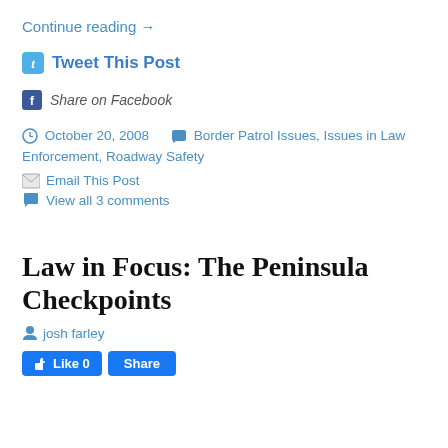Continue reading →
Tweet This Post
Share on Facebook
October 20, 2008    Border Patrol Issues, Issues in Law Enforcement, Roadway Safety
Email This Post
View all 3 comments
Law in Focus: The Peninsula Checkpoints
josh farley
Like 0  Share